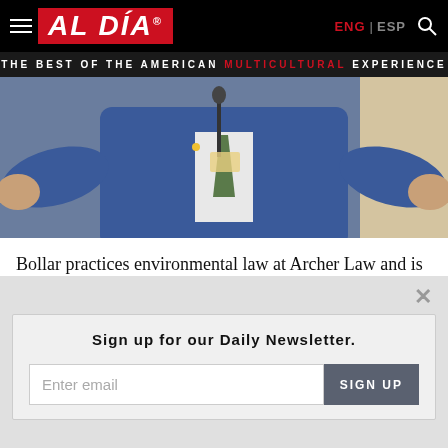AL DÍA | THE BEST OF THE AMERICAN MULTICULTURAL EXPERIENCE
[Figure (photo): Person in blue suit with arms outstretched speaking at a podium with microphone]
Bollar practices environmental law at Archer Law and is co-chair of the firm's Environmental Justice Practice Group.
Sign up for our Daily Newsletter.
Enter email | SIGN UP